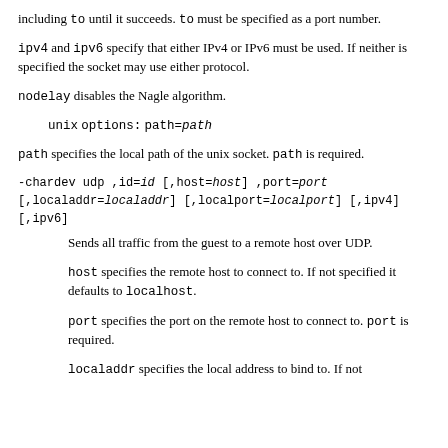including to until it succeeds. to must be specified as a port number.
ipv4 and ipv6 specify that either IPv4 or IPv6 must be used. If neither is specified the socket may use either protocol.
nodelay disables the Nagle algorithm.
unix options: path=path
path specifies the local path of the unix socket. path is required.
-chardev udp ,id=id [,host=host] ,port=port
[,localaddr=localaddr] [,localport=localport] [,ipv4]
[,ipv6]
Sends all traffic from the guest to a remote host over UDP.
host specifies the remote host to connect to. If not specified it defaults to localhost.
port specifies the port on the remote host to connect to. port is required.
localaddr specifies the local address to bind to. If not